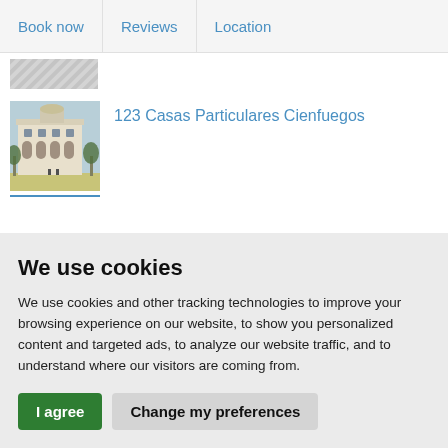Book now | Reviews | Location
[Figure (photo): Partial thumbnail image at top, partially visible, showing a textured/patterned surface]
123 Casas Particulares Cienfuegos
[Figure (photo): Photo of a colonial-style white building with arches, palm trees in the foreground, sunny day]
We use cookies
We use cookies and other tracking technologies to improve your browsing experience on our website, to show you personalized content and targeted ads, to analyze our website traffic, and to understand where our visitors are coming from.
I agree  Change my preferences